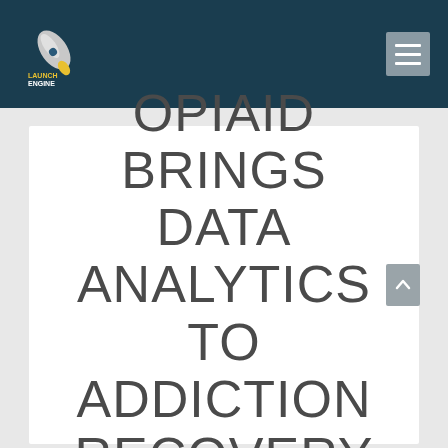Launch Engine (logo and navigation header)
OPIAID BRINGS DATA ANALYTICS TO ADDICTION RECOVERY